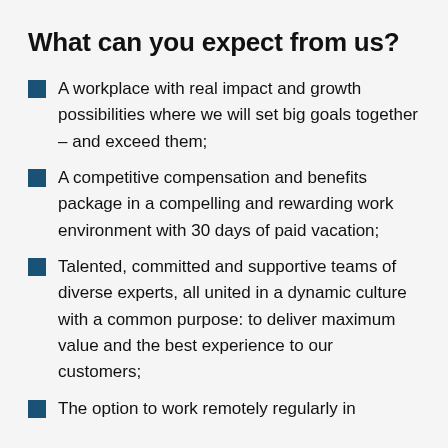What can you expect from us?
A workplace with real impact and growth possibilities where we will set big goals together – and exceed them;
A competitive compensation and benefits package in a compelling and rewarding work environment with 30 days of paid vacation;
Talented, committed and supportive teams of diverse experts, all united in a dynamic culture with a common purpose: to deliver maximum value and the best experience to our customers;
The option to work remotely regularly in